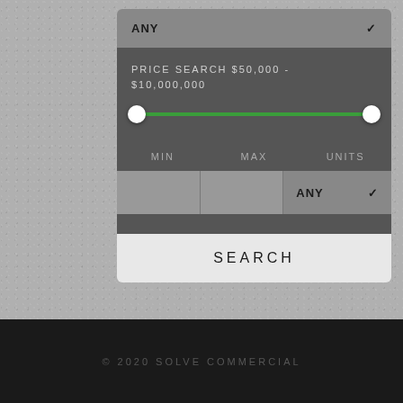[Figure (screenshot): Search filter UI panel showing a dropdown set to ANY, a price range slider from $50,000 to $10,000,000 with green track and white circle handles, MIN/MAX/UNITS input fields, and a SEARCH button, overlaid on a concrete-textured background.]
© 2020 SOLVE COMMERCIAL